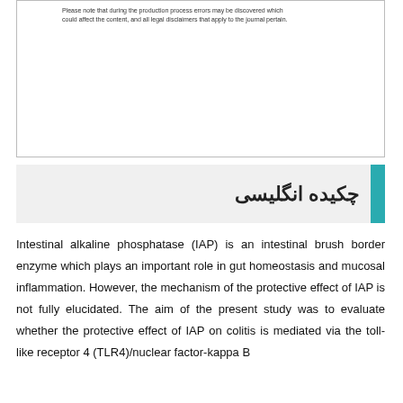Please note that during the production process errors may be discovered which could affect the content, and all legal disclaimers that apply to the journal pertain.
چکیده انگلیسی
Intestinal alkaline phosphatase (IAP) is an intestinal brush border enzyme which plays an important role in gut homeostasis and mucosal inflammation. However, the mechanism of the protective effect of IAP is not fully elucidated. The aim of the present study was to evaluate whether the protective effect of IAP on colitis is mediated via the toll-like receptor 4 (TLR4)/nuclear factor-kappa B